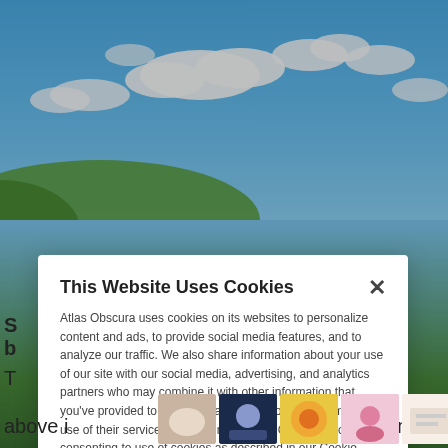[Figure (photo): Blue sky with white clouds over a green hillside, serving as the background of a website page about Atlas Obscura.]
This Website Uses Cookies
Atlas Obscura uses cookies on its websites to personalize content and ads, to provide social media features, and to analyze our traffic. We also share information about your use of our site with our social media, advertising, and analytics partners who may combine it with other information that you've provided to them or that they've collected from your use of their services. By clicking "Accept Cookies", you are consenting to use of cookies as described in our Cookie Policy. View Cookie Policy
Manage Preferences
Allow Cookies
above i
n isle